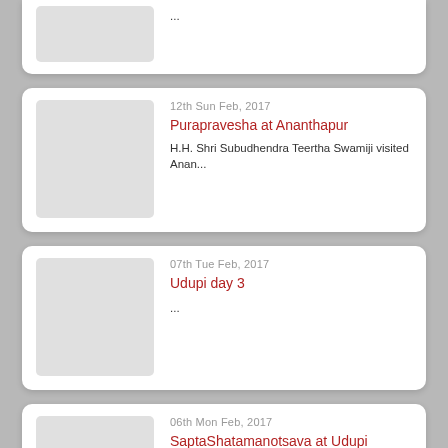...
12th Sun Feb, 2017
Purapravesha at Ananthapur
H.H. Shri Subudhendra Teertha Swamiji visited Anan...
07th Tue Feb, 2017
Udupi day 3
...
06th Mon Feb, 2017
SaptaShatamanotsava at Udupi
H.H. Swamiji participated in the 700th year